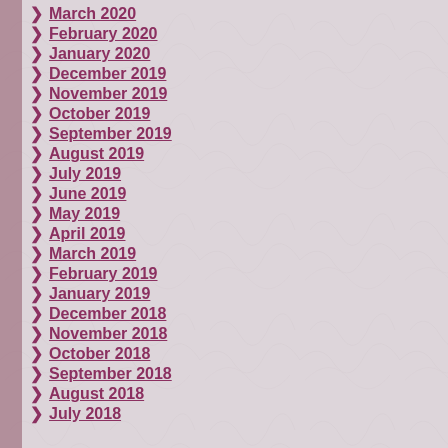March 2020
February 2020
January 2020
December 2019
November 2019
October 2019
September 2019
August 2019
July 2019
June 2019
May 2019
April 2019
March 2019
February 2019
January 2019
December 2018
November 2018
October 2018
September 2018
August 2018
July 2018